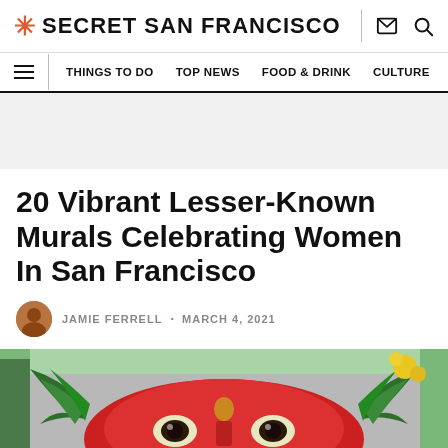SECRET SAN FRANCISCO
THINGS TO DO  TOP NEWS  FOOD & DRINK  CULTURE
20 Vibrant Lesser-Known Murals Celebrating Women In San Francisco
JAMIE FERRELL · MARCH 4, 2021
[Figure (photo): Colorful mural featuring a large red face with decorative green feathered or winged elements around it, painted on a wall]